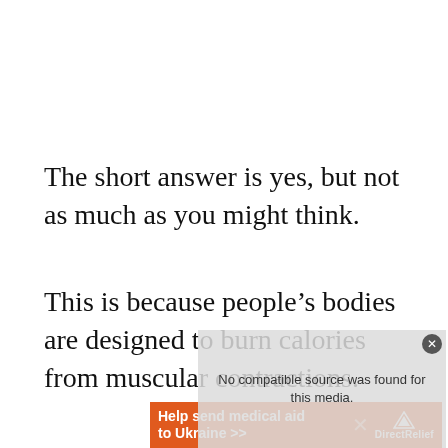The short answer is yes, but not as much as you might think.
This is because people’s bodies are designed to burn calories from muscular contractions.
[Figure (other): Video player overlay showing 'No compatible source was found for this media.' with a close button, and an orange advertisement banner for Direct Relief reading 'Help send medical aid to Ukraine >>']